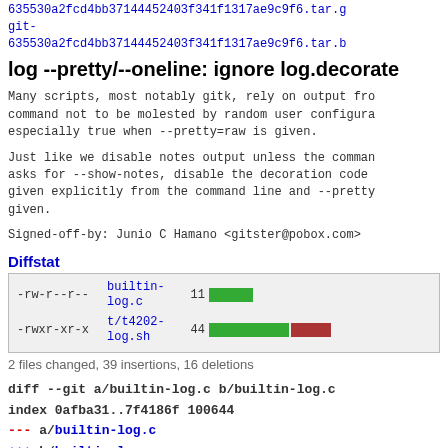635530a2fcd4bb37144452403f341f1317ae9c9f6.tar.gz git-635530a2fcd4bb37144452403f341f1317ae9c9f6.tar.bz
log --pretty/--oneline: ignore log.decorate
Many scripts, most notably gitk, rely on output from command not to be molested by random user configuration. especially true when --pretty=raw is given.
Just like we disable notes output unless the command asks for --show-notes, disable the decoration code given explicitly from the command line and --pretty given.
Signed-off-by: Junio C Hamano <gitster@pobox.com>
Diffstat
| permissions | file | count | bar |
| --- | --- | --- | --- |
| -rw-r--r-- | builtin-log.c | 11 | green:11 |
| -rwxr-xr-x | t/t4202-log.sh | 44 | green:30 red:14 |
2 files changed, 39 insertions, 16 deletions
diff --git a/builtin-log.c b/builtin-log.c
index 0afba31..7f4186f 100644
--- a/builtin-log.c
+++ b/builtin-log.c